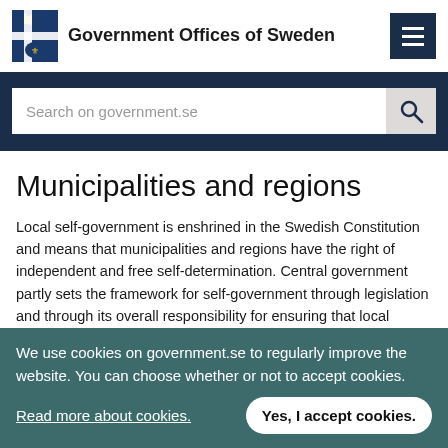Government Offices of Sweden
Search on government.se
Municipalities and regions
Local self-government is enshrined in the Swedish Constitution and means that municipalities and regions have the right of independent and free self-determination. Central government partly sets the framework for self-government through legislation and through its overall responsibility for ensuring that local government operates
We use cookies on government.se to regularly improve the website. You can choose whether or not to accept cookies.
Read more about cookies.
Yes, I accept cookies.